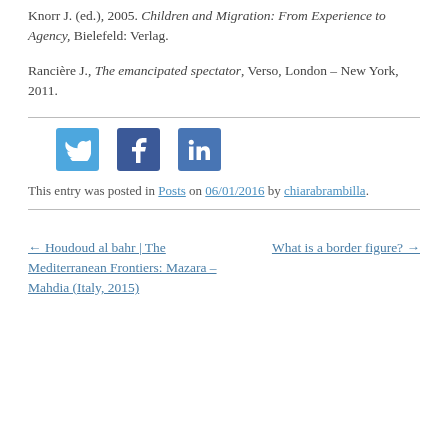Knorr J. (ed.), 2005. Children and Migration: From Experience to Agency, Bielefeld: Verlag.
Rancière J., The emancipated spectator, Verso, London – New York, 2011.
[Figure (infographic): Three social media share buttons: Twitter (blue bird icon), Facebook (blue f icon), LinkedIn (blue in icon)]
This entry was posted in Posts on 06/01/2016 by chiarabrambilla.
← Houdoud al bahr | The Mediterranean Frontiers: Mazara – Mahdia (Italy, 2015)
What is a border figure? →